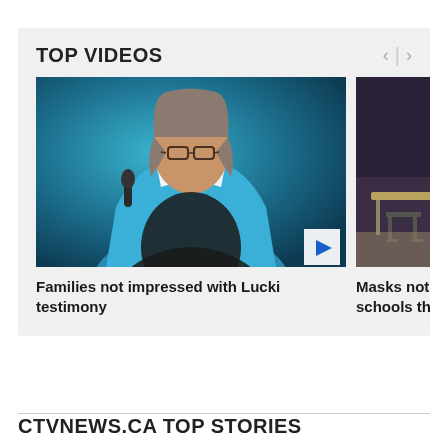TOP VIDEOS
[Figure (photo): Video thumbnail showing a woman with glasses and grey hair speaking at a microphone, wearing a blue patterned top, with a dark silhouette in the foreground]
Families not impressed with Lucki testimony
[Figure (photo): Video thumbnail showing a classroom with desks and chairs, partially visible]
Masks not schools thi
CTVNEWS.CA TOP STORIES